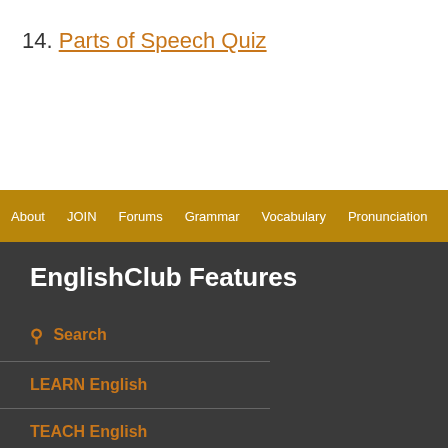14. Parts of Speech Quiz
About | JOIN | Forums | Grammar | Vocabulary | Pronunciation | Listening
EnglishClub Features
Search
LEARN English
TEACH English
eBooks